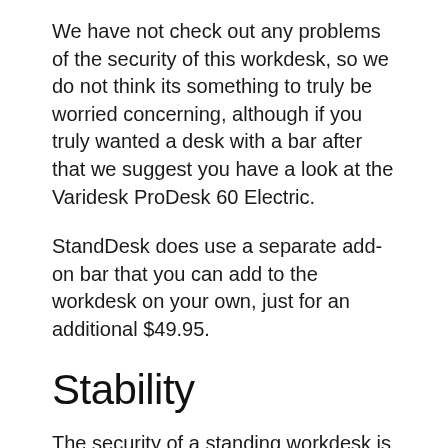We have not check out any problems of the security of this workdesk, so we do not think its something to truly be worried concerning, although if you truly wanted a desk with a bar after that we suggest you have a look at the Varidesk ProDesk 60 Electric.
StandDesk does use a separate add-on bar that you can add to the workdesk on your own, just for an additional $49.95.
Stability
The security of a standing workdesk is among the most important aspects of these workdesks. Without a steady workdesk you'll find it difficult to focus, which could cause